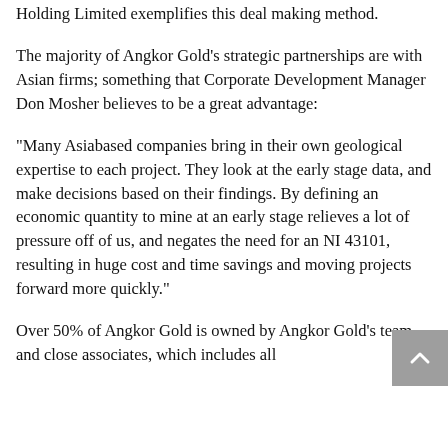Holding Limited exemplifies this deal making method.
The majority of Angkor Gold's strategic partnerships are with Asian firms; something that Corporate Development Manager Don Mosher believes to be a great advantage:
“Many Asiabased companies bring in their own geological expertise to each project. They look at the early stage data, and make decisions based on their findings. By defining an economic quantity to mine at an early stage relieves a lot of pressure off of us, and negates the need for an NI 43101, resulting in huge cost and time savings and moving projects forward more quickly.”
Over 50% of Angkor Gold is owned by Angkor Gold’s team and close associates, which includes all